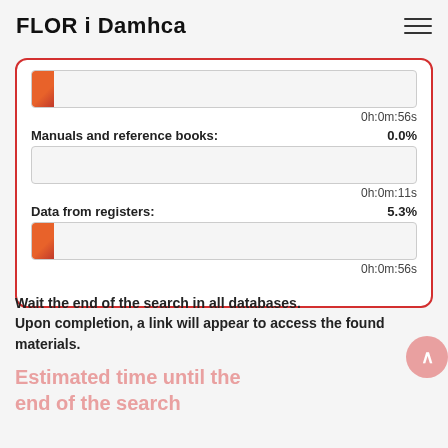FLOR i Damhca
[Figure (infographic): Progress tracker card with red border showing progress bars for 'Manuals and reference books: 0.0%' (0h:0m:11s) and 'Data from registers: 5.3%' (0h:0m:56s), with time labels and partial orange progress fills]
Wait the end of the search in all databases.
Upon completion, a link will appear to access the found materials.
Estimated time until the end of the search